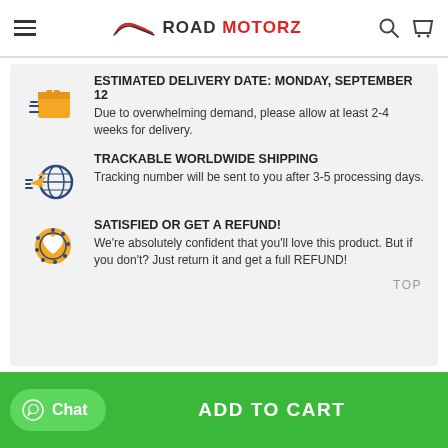ROAD MOTORZ
ESTIMATED DELIVERY DATE: MONDAY, SEPTEMBER 12
Due to overwhelming demand, please allow at least 2-4 weeks for delivery.
TRACKABLE WORLDWIDE SHIPPING
Tracking number will be sent to you after 3-5 processing days.
SATISFIED OR GET A REFUND!
We're absolutely confident that you'll love this product. But if you don't? Just return it and get a full REFUND!
TOP
Chat  ADD TO CART